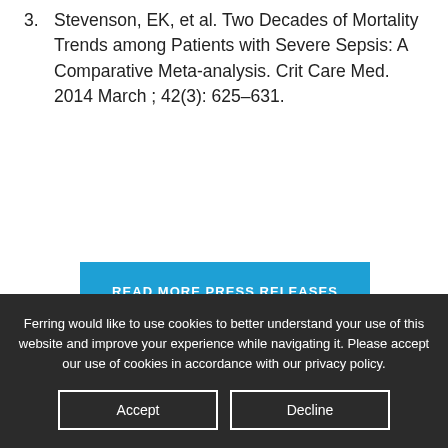3. Stevenson, EK, et al. Two Decades of Mortality Trends among Patients with Severe Sepsis: A Comparative Meta-analysis. Crit Care Med. 2014 March ; 42(3): 625–631.
READ MORE PRESS RELEASES
Ferring would like to use cookies to better understand your use of this website and improve your experience while navigating it. Please accept our use of cookies in accordance with our privacy policy.
Accept
Decline